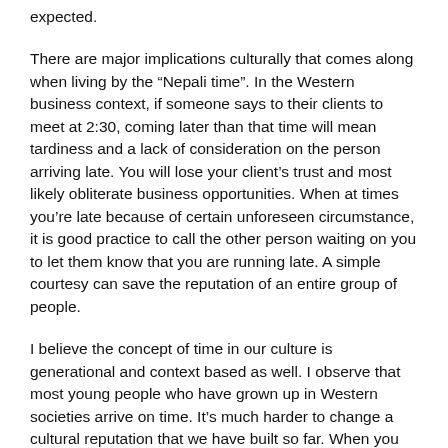expected.
There are major implications culturally that comes along when living by the “Nepali time”. In the Western business context, if someone says to their clients to meet at 2:30, coming later than that time will mean tardiness and a lack of consideration on the person arriving late. You will lose your client’s trust and most likely obliterate business opportunities. When at times you’re late because of certain unforeseen circumstance, it is good practice to call the other person waiting on you to let them know that you are running late. A simple courtesy can save the reputation of an entire group of people.
I believe the concept of time in our culture is generational and context based as well. I observe that most young people who have grown up in Western societies arrive on time. It’s much harder to change a cultural reputation that we have built so far. When you arrive late because you expect the other party to arrive late too, what is the value in that relationship? If we build a reputation on always being on time or completing work on time, I am sure we will be regarded highly for our punctuality and also build trust and